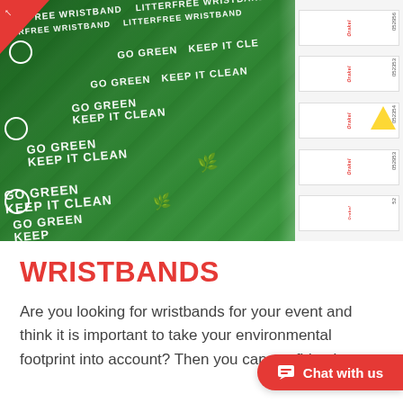[Figure (photo): Photo of green eco-friendly wristbands/tickets with 'GO GREEN KEEP IT CLEAN' and 'LITTERFREE WRISTBAND' text printed on them, shown rolled up. Also visible are white ticket stubs branded with 'Orakel', one featuring a yellow triangle. A red triangle/corner decoration is visible top-left.]
WRISTBANDS
Are you looking for wristbands for your event and think it is important to take your environmental footprint into account? Then you can confidently